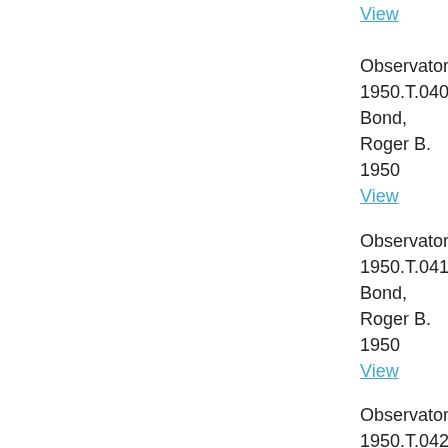View
Observatory
1950.T.040
Bond, Roger B.
1950
View
Observatory
1950.T.041
Bond, Roger B.
1950
View
Observatory
1950.T.042
Bond, Roger B.
1950
View
Observatory
1950.T.044
Bond, Roger B.
1950
View